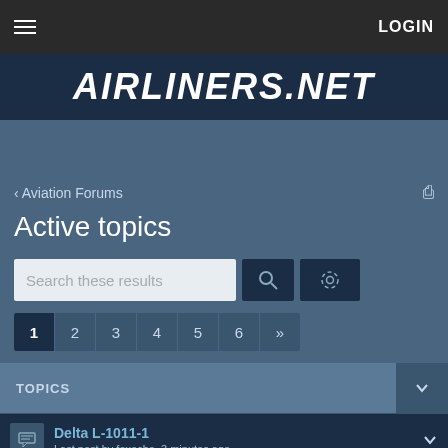LOGIN
AIRLINERS.NET
‹ Aviation Forums
Active topics
Search these results
1 2 3 4 5 6 »
| TOPICS |
| --- |
| Delta L-1011-1 | Last post by foxecho, 3 minutes ago | 5 |
Delta L-1011-1
Last post by foxecho, 3 minutes ago